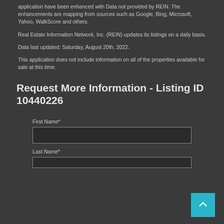application have been enhanced with Data not provided by REIN. The enhancements are mapping from sources such as Google, Bing, Microsoft, Yahoo, WalkScore and others.
Real Estate Information Network, Inc. (REIN) updates its listings on a daily basis.
Data last updated: Saturday, August 20th, 2022.
This application does not include information on all of the properties available for sale at this time.
Request More Information - Listing ID 10440226
First Name*
Last Name*